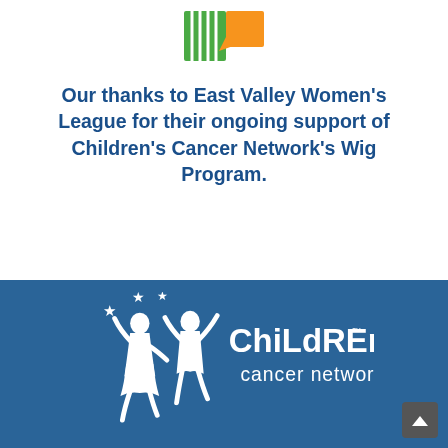[Figure (logo): East Valley Women's League logo with green and orange colors]
Our thanks to East Valley Women's League for their ongoing support of Children's Cancer Network's Wig Program.
[Figure (logo): Children's Cancer Network logo with two white children silhouettes reaching for stars and text 'ChiLdREn'S cancer network' on blue background]